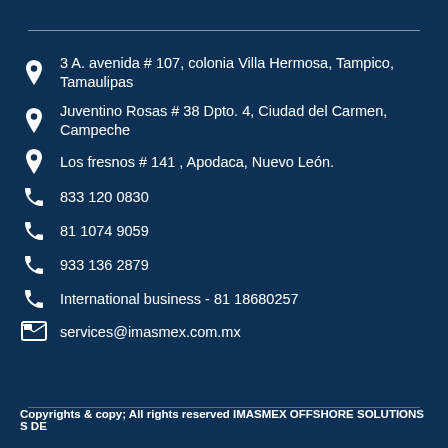3 A. avenida # 107, colonia Villa Hermosa, Tampico, Tamaulipas
Juventino Rosas # 38 Dpto. 4, Ciudad del Carmen, Campeche
Los fresnos # 141 , Apodaca, Nuevo León.
833 120 0830
81 1074 9059
933 136 2879
International business - 81 18680257
services@imasmex.com.mx
Copyrights & copy; All rights reserved IMASMEX OFFSHORE SOLUTIONS S DE